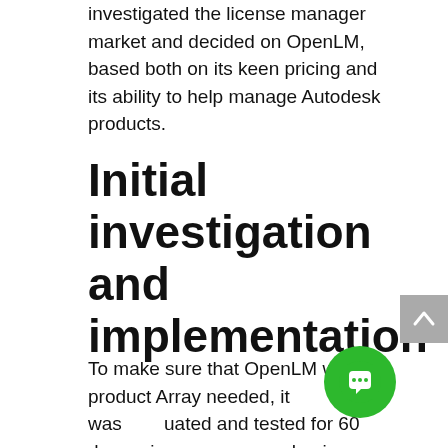investigated the license manager market and decided on OpenLM, based both on its keen pricing and its ability to help manage Autodesk products.
Initial investigation and implementation
To make sure that OpenLM was the product Array needed, it was evaluated and tested for 60 days prior to making a purchasing decision. This was the